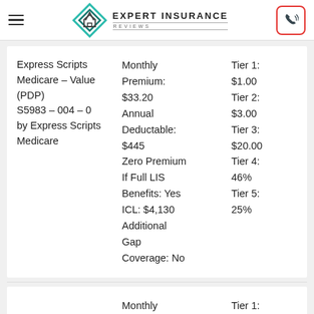Expert Insurance Reviews
| Plan | Details | Tiers |
| --- | --- | --- |
| Express Scripts Medicare – Value (PDP)
S5983 – 004 – 0
by Express Scripts Medicare | Monthly Premium: $33.20
Annual Deductable: $445
Zero Premium If Full LIS Benefits: Yes
ICL: $4,130
Additional Gap Coverage: No | Tier 1: $1.00
Tier 2: $3.00
Tier 3: $20.00
Tier 4: 46%
Tier 5: 25% |
Monthly Premium: $34.00